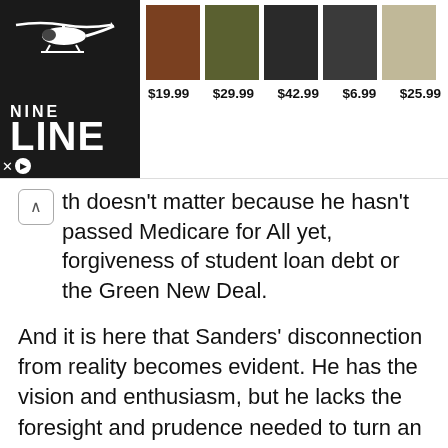[Figure (screenshot): Advertisement banner for Nine Line brand with helicopter logo, product images, and prices: $19.99, $29.99, $42.99, $6.99, $25.99]
th doesn't matter because he hasn't passed Medicare for All yet, forgiveness of student loan debt or the Green New Deal.
And it is here that Sanders' disconnection from reality becomes evident. He has the vision and enthusiasm, but he lacks the foresight and prudence needed to turn an idea into law. Sanders is a great socialist in theory. But practically, he's still trying to figure out what socialism means – and more importantly, what it requires.
Share this: